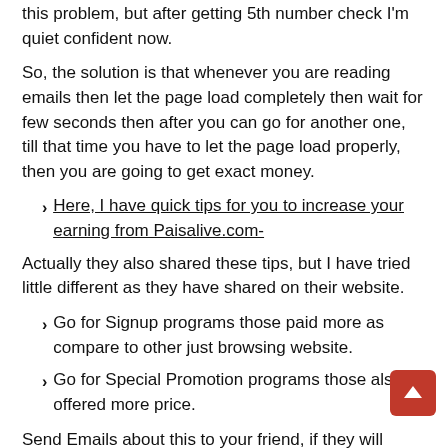this problem, but after getting 5th number check I'm quiet confident now.
So, the solution is that whenever you are reading emails then let the page load completely then wait for few seconds then after you can go for another one, till that time you have to let the page load properly, then you are going to get exact money.
Here, I have quick tips for you to increase your earning from Paisalive.com-
Actually they also shared these tips, but I have tried little different as they have shared on their website.
Go for Signup programs those paid more as compare to other just browsing website.
Go for Special Promotion programs those also offered more price.
Send Emails about this to your friend, if they will signup through your referral link(Which link you are going to from Paisalive account) to then each member will signup, you will earn 2 INR, specially I got all my checks through